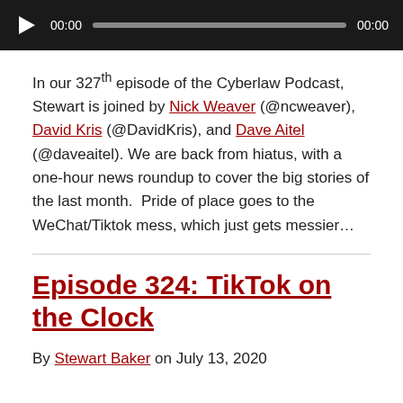[Figure (other): Audio player bar with play button, timestamp 00:00, progress bar, and end time 00:00 on dark background]
In our 327th episode of the Cyberlaw Podcast, Stewart is joined by Nick Weaver (@ncweaver), David Kris (@DavidKris), and Dave Aitel (@daveaitel). We are back from hiatus, with a one-hour news roundup to cover the big stories of the last month.  Pride of place goes to the WeChat/Tiktok mess, which just gets messier…
Episode 324: TikTok on the Clock
By Stewart Baker on July 13, 2020